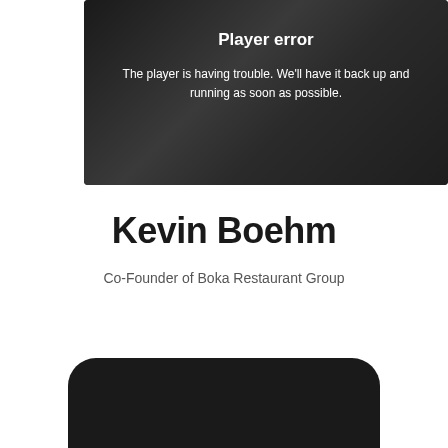[Figure (screenshot): Video player with dark background showing a person, displaying a 'Player error' overlay message]
Player error
The player is having trouble. We'll have it back up and running as soon as possible.
Kevin Boehm
Co-Founder of Boka Restaurant Group
[Figure (other): Dark rounded rectangle widget at the bottom of the page]